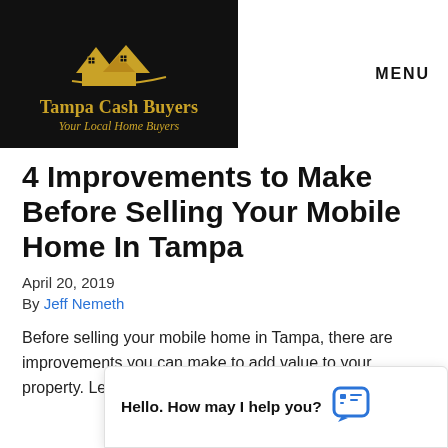[Figure (logo): Tampa Cash Buyers logo: black background with gold house/roof icon, text 'Tampa Cash Buyers' and 'Your Local Home Buyers' in gold italic]
MENU
4 Improvements to Make Before Selling Your Mobile Home In Tampa
April 20, 2019
By Jeff Nemeth
Before selling your mobile home in Tampa, there are improvements you can make to add value to your property. Learn about selling options availa…
Hello. How may I help you?